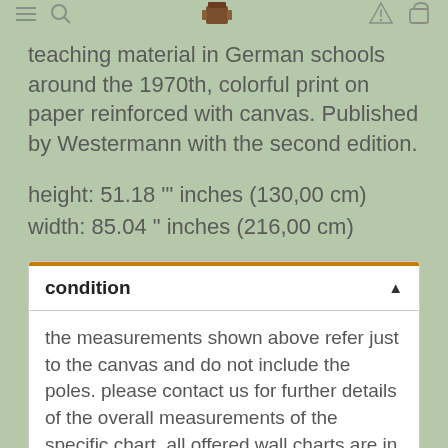teaching material in German schools around the 1970th, colorful print on paper reinforced with canvas. Published by Westermann with the second edition.
height: 51.18 '" inches (130,00 cm)
width: 85.04 " inches (216,00 cm)
condition
the measurements shown above refer just to the canvas and do not include the poles. please contact us for further details of the overall measurements of the specific chart. all offered wall charts are in a good original condition. they have been utilised and therefore show age related traces of usage.